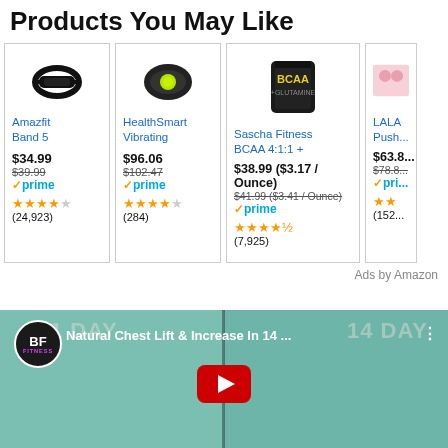Products You May Like
[Figure (screenshot): Amazon product cards row: Amazfit Band 5, HealthSmart Vibrating, Sascha Fitness BCAA 4:1:1+, and partially visible fourth product (LALA Push...)]
Ads by Amazon
[Figure (screenshot): YouTube video thumbnail for 'Natural Chest Lift & Increase In 14...' by BF Fitness channel, showing before/after chest lift comparison with 1 DAY and 14 DAY labels]